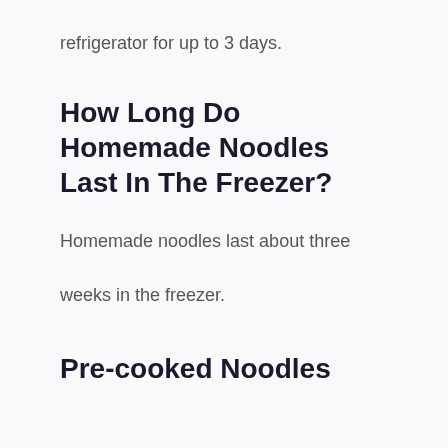refrigerator for up to 3 days.
How Long Do Homemade Noodles Last In The Freezer?
Homemade noodles last about three weeks in the freezer.
Pre-cooked Noodles